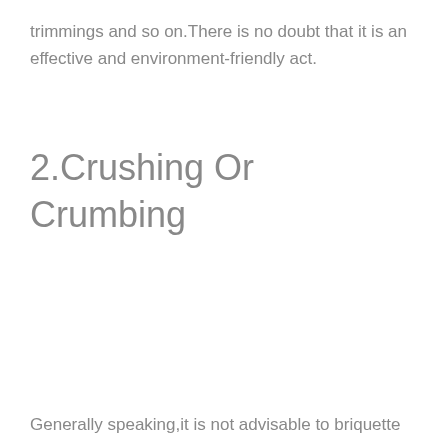trimmings and so on.There is no doubt that it is an effective and environment-friendly act.
2.Crushing Or Crumbing
Generally speaking,it is not advisable to briquette